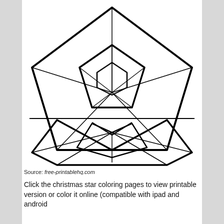[Figure (illustration): A black-and-white line drawing of a geometric Christmas star coloring page. The upper portion shows a 5-pointed star with internal geometric line details radiating from a central pentagon, with lines connecting inner and outer points. Below a horizontal line is a reflected/inverted geometric shape resembling the lower half of the star pattern forming a symmetrical design.]
Source: free-printablehq.com
Click the christmas star coloring pages to view printable version or color it online (compatible with ipad and android